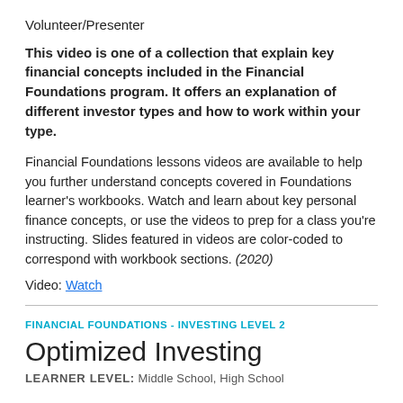Volunteer/Presenter
This video is one of a collection that explain key financial concepts included in the Financial Foundations program. It offers an explanation of different investor types and how to work within your type.
Financial Foundations lessons videos are available to help you further understand concepts covered in Foundations learner's workbooks. Watch and learn about key personal finance concepts, or use the videos to prep for a class you're instructing. Slides featured in videos are color-coded to correspond with workbook sections. (2020)
Video: Watch
FINANCIAL FOUNDATIONS - INVESTING LEVEL 2
Optimized Investing
LEARNER LEVEL: Middle School, High School